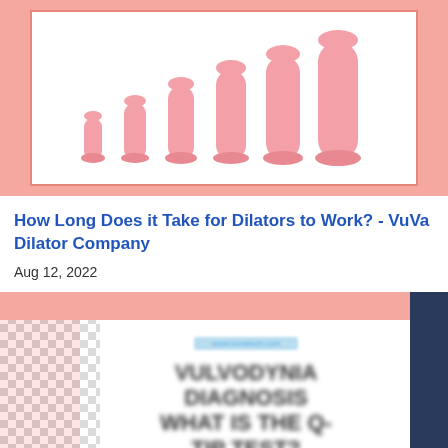[Figure (photo): Pink background image with white bordered box showing a set of vaginal dilators of increasing sizes arranged in a row, in pink/salmon color]
How Long Does it Take for Dilators to Work? - VuVa Dilator Company
Aug 12, 2022
[Figure (photo): Partially blurred promotional image with checkerboard pattern on left, pink header bar, white content area with blurred blue link text and large bold dark headline text reading 'VULVODYNiA DIAGNOSIS WHAT IS THE Q-TIP TEST?' and dark navy vertical bar on right]